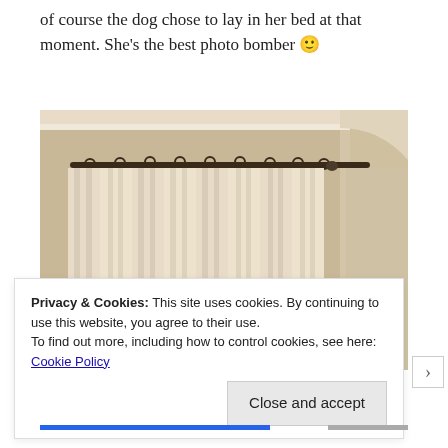of course the dog chose to lay in her bed at that moment. She's the best photo bomber 🙂
[Figure (photo): Interior photo showing beige/cream curtains hanging from a dark curtain rod near the ceiling of a room with white crown molding and beige walls.]
Privacy & Cookies: This site uses cookies. By continuing to use this website, you agree to their use.
To find out more, including how to control cookies, see here: Cookie Policy
Close and accept